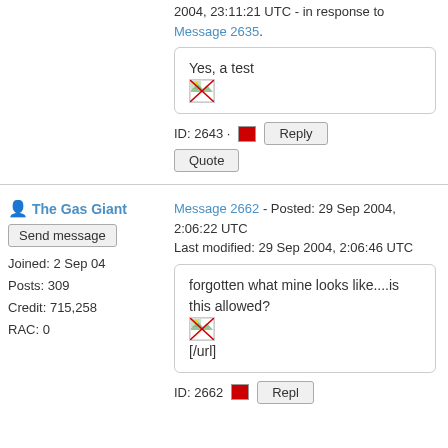2004, 23:11:21 UTC - in response to Message 2635.
Yes, a test
ID: 2643 · Reply
Quote
Send message
Joined: 27 Sep 04
Posts: 3
Credit: 3,534
RAC: 0
The Gas Giant
Send message
Joined: 2 Sep 04
Posts: 309
Credit: 715,258
RAC: 0
Message 2662 - Posted: 29 Sep 2004, 2:06:22 UTC
Last modified: 29 Sep 2004, 2:06:46 UTC
forgotten what mine looks like....is this allowed?
[/url]
ID: 2662 · Reply